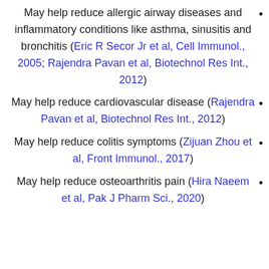May help reduce allergic airway diseases and inflammatory conditions like asthma, sinusitis and bronchitis (Eric R Secor Jr et al, Cell Immunol., 2005; Rajendra Pavan et al, Biotechnol Res Int., 2012)
May help reduce cardiovascular disease (Rajendra Pavan et al, Biotechnol Res Int., 2012)
May help reduce colitis symptoms (Zijuan Zhou et al, Front Immunol., 2017)
May help reduce osteoarthritis pain (Hira Naeem et al, Pak J Pharm Sci., 2020)